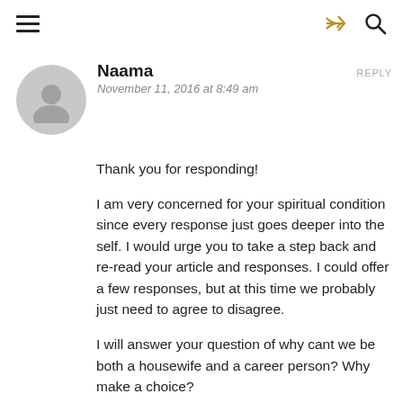☰  [share icon]  🔍
Naama
November 11, 2016 at 8:49 am
REPLY
Thank you for responding!

I am very concerned for your spiritual condition since every response just goes deeper into the self. I would urge you to take a step back and re-read your article and responses. I could offer a few responses, but at this time we probably just need to agree to disagree.

I will answer your question of why cant we be both a housewife and a career person? Why make a choice?
Well, many women have a family and work